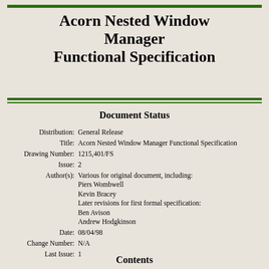Acorn Nested Window Manager Functional Specification
Document Status
| Field | Value |
| --- | --- |
| Distribution: | General Release |
| Title: | Acorn Nested Window Manager Functional Specification |
| Drawing Number: | 1215,401/FS |
| Issue: | 2 |
| Author(s): | Various for original document, including:
Piers Wombwell
Kevin Bracey
Later revisions for first formal specification:
Ben Avison
Andrew Hodgkinson |
| Date: | 08/04/98 |
| Change Number: | N/A |
| Last Issue: | 1 |
Contents